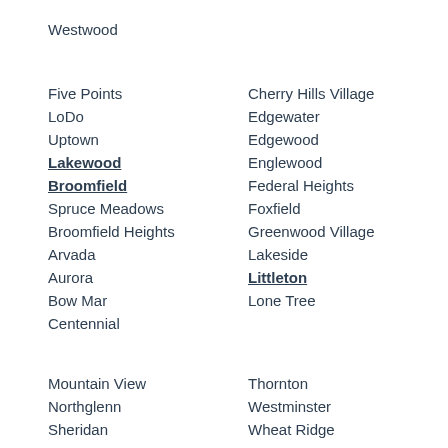Westwood
Five Points
LoDo
Uptown
Lakewood
Broomfield
Spruce Meadows
Broomfield Heights
Arvada
Aurora
Bow Mar
Centennial
Cherry Hills Village
Edgewater
Edgewood
Englewood
Federal Heights
Foxfield
Greenwood Village
Lakeside
Littleton
Lone Tree
Mountain View
Northglenn
Sheridan
Thornton
Westminster
Wheat Ridge